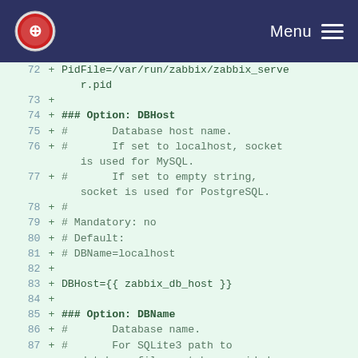Menu
[Figure (screenshot): Diff view of a Zabbix configuration file showing lines 72-87 with additions marked by + signs. Lines include PidFile path, DBHost option documentation and DBHost={{ zabbix_db_host }} setting, and DBName option documentation.]